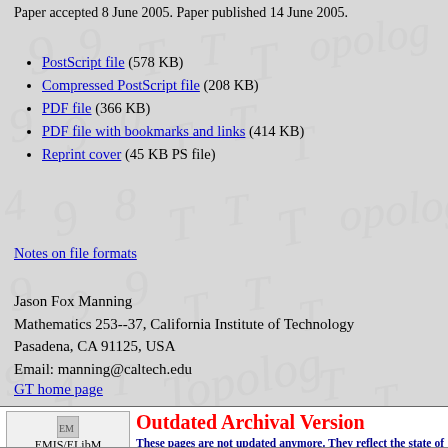Paper accepted 8 June 2005. Paper published 14 June 2005.
PostScript file (578 KB)
Compressed PostScript file (208 KB)
PDF file (366 KB)
PDF file with bookmarks and links (414 KB)
Reprint cover (45 KB PS file)
Notes on file formats
Jason Fox Manning
Mathematics 253--37, California Institute of Technology
Pasadena, CA 91125, USA
Email: manning@caltech.edu
GT home page
Outdated Archival Version
These pages are not updated anymore. They reflect the state of 21 Apr 2006. For the current production of this journal, please refer to http://msp.warwick.ac.uk/.